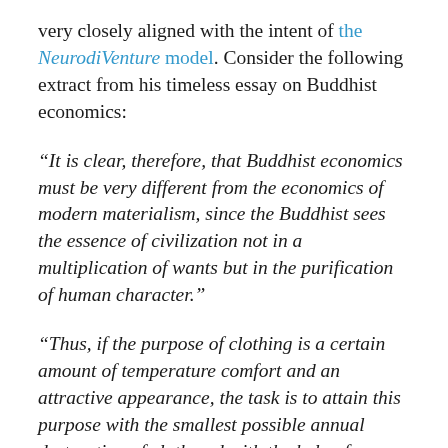very closely aligned with the intent of the NeurodiVenture model. Consider the following extract from his timeless essay on Buddhist economics:
“It is clear, therefore, that Buddhist economics must be very different from the economics of modern materialism, since the Buddhist sees the essence of civilization not in a multiplication of wants but in the purification of human character.”
“Thus, if the purpose of clothing is a certain amount of temperature comfort and an attractive appearance, the task is to attain this purpose with the smallest possible annual destruction of cloth and with the help of designs that involve the smallest possible input of toil.”